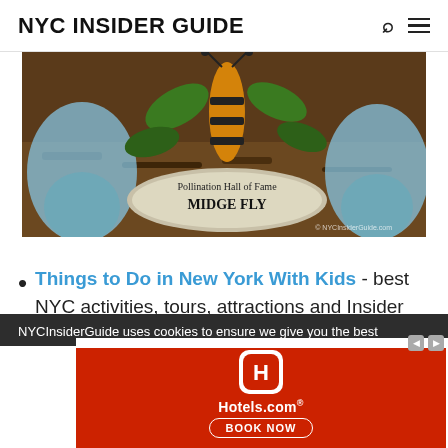NYC INSIDER GUIDE
[Figure (photo): Photo of a garden display with insects and a stone sign reading 'Pollination Hall of Fame MIDGE FLY'. Watermark: NYCInsiderGuide.com]
Things to Do in New York With Kids - best NYC activities, tours, attractions and Insider Tips for kids and families
NYCInsiderGuide uses cookies to ensure we give you the best
[Figure (screenshot): Hotels.com advertisement banner with red background, Hotels.com logo, and BOOK NOW button]